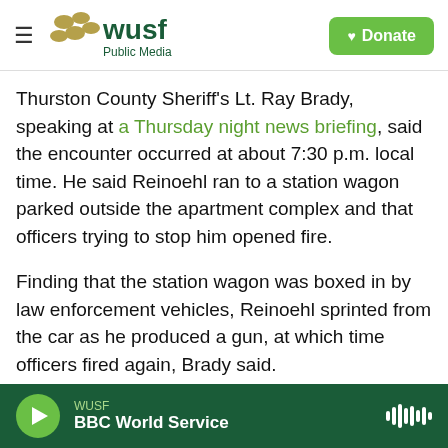WUSF Public Media — Donate
Thurston County Sheriff's Lt. Ray Brady, speaking at a Thursday night news briefing, said the encounter occurred at about 7:30 p.m. local time. He said Reinoehl ran to a station wagon parked outside the apartment complex and that officers trying to stop him opened fire.
Finding that the station wagon was boxed in by law enforcement vehicles, Reinoehl sprinted from the car as he produced a gun, at which time officers fired again, Brady said.
Two witnesses told The Olympian that they saw
WUSF — BBC World Service